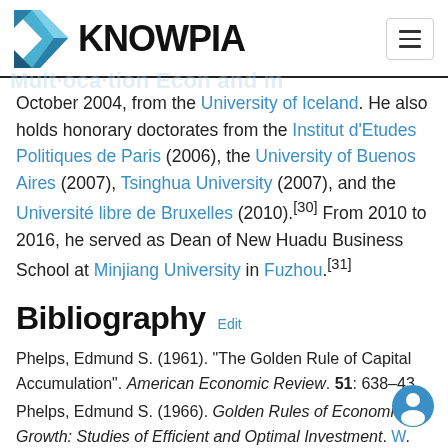KNOWPIA
October 2004, from the University of Iceland. He also holds honorary doctorates from the Institut d'Etudes Politiques de Paris (2006), the University of Buenos Aires (2007), Tsinghua University (2007), and the Université libre de Bruxelles (2010).[30] From 2010 to 2016, he served as Dean of New Huadu Business School at Minjiang University in Fuzhou.[31]
Bibliography Edit
Phelps, Edmund S. (1961). "The Golden Rule of Capital Accumulation". American Economic Review. 51: 638–43.
Phelps, Edmund S. (1966). Golden Rules of Economic Growth: Studies of Efficient and Optimal Investment. W. Norton, New York. ISBN 0-393-09708-0.